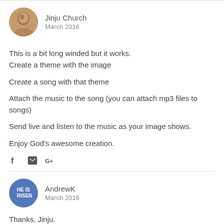Jinju Church
March 2016
This is a bit long winded but it works.
Create a theme with the image

Create a song with that theme

Attach the music to the song (you can attach mp3 files to songs)

Send live and listen to the music as your image shows.

Enjoy God's awesome creation.
[Figure (infographic): Social sharing icons: Facebook (f), Twitter (bird/box), Google+ (G+)]
AndrewK
March 2016
Thanks, Jinju.
I'm not sure how that's going to work if I have multiple slides -